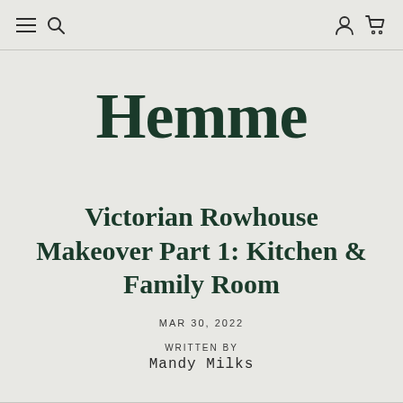Navigation bar with menu, search, account, and cart icons
Hemme
Victorian Rowhouse Makeover Part 1: Kitchen & Family Room
MAR 30, 2022
WRITTEN BY
Mandy Milks